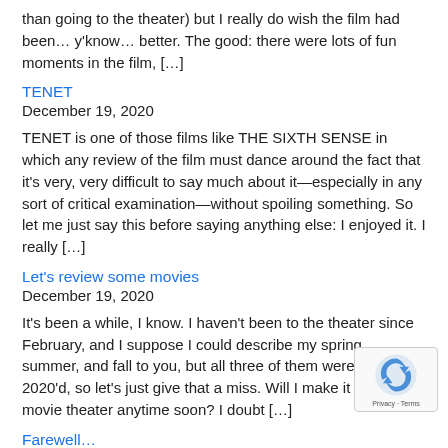than going to the theater) but I really do wish the film had been… y'know… better. The good: there were lots of fun moments in the film, […]
TENET
December 19, 2020
TENET is one of those films like THE SIXTH SENSE in which any review of the film must dance around the fact that it's very, very difficult to say much about it—especially in any sort of critical examination—without spoiling something. So let me just say this before saying anything else: I enjoyed it. I really […]
Let's review some movies
December 19, 2020
It's been a while, I know. I haven't been to the theater since February, and I suppose I could describe my spring, summer, and fall to you, but all three of them were mightily 2020'd, so let's just give that a miss. Will I make it back to a movie theater anytime soon? I doubt […]
Farewell…